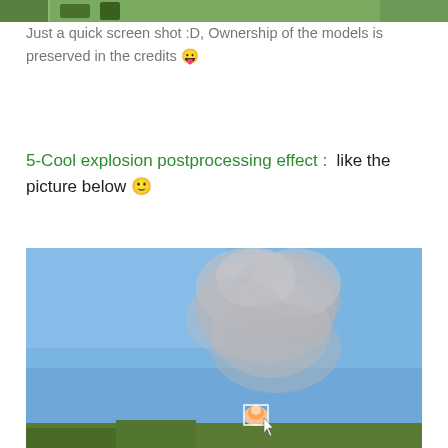[Figure (screenshot): Top strip showing a partial screenshot of 3D models in a green environment]
Just a quick screen shot :D, Ownership of the models is preserved in the credits 😛
5-Cool explosion postprocessing effect :  like the picture below 🙂
[Figure (screenshot): Screenshot of an explosion postprocessing effect showing a blue sky with a smoky grey explosion plume and a bright flame/object near the bottom center with a cursor visible]